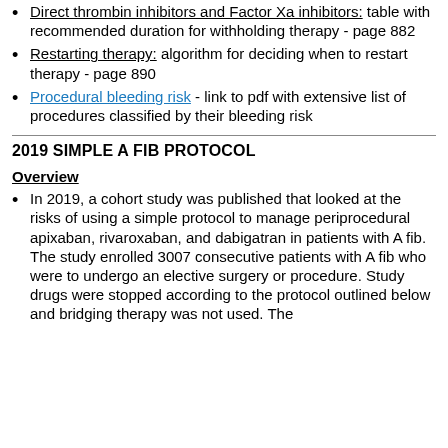Direct thrombin inhibitors and Factor Xa inhibitors: table with recommended duration for withholding therapy - page 882
Restarting therapy: algorithm for deciding when to restart therapy - page 890
Procedural bleeding risk - link to pdf with extensive list of procedures classified by their bleeding risk
2019 SIMPLE A FIB PROTOCOL
Overview
In 2019, a cohort study was published that looked at the risks of using a simple protocol to manage periprocedural apixaban, rivaroxaban, and dabigatran in patients with A fib. The study enrolled 3007 consecutive patients with A fib who were to undergo an elective surgery or procedure. Study drugs were stopped according to the protocol outlined below and bridging therapy was not used. The